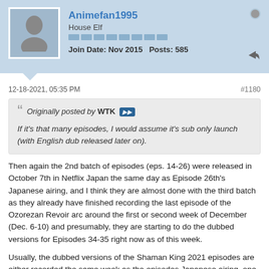Animefan1995 | House Elf | Join Date: Nov 2015 | Posts: 585
12-18-2021, 05:35 PM
#1180
Originally posted by WTK — If it's that many episodes, I would assume it's sub only launch (with English dub released later on).
Then again the 2nd batch of episodes (eps. 14-26) were released in October 7th in Netflix Japan the same day as Episode 26th's Japanese airing, and I think they are almost done with the third batch as they already have finished recording the last episode of the Ozorezan Revoir arc around the first or second week of December (Dec. 6-10) and presumably, they are starting to do the dubbed versions for Episodes 34-35 right now as of this week.
Usually, the dubbed versions of the Shaman King 2021 episodes are either recorded the same week as the episodes Japanese airing, one week after the episode aired in Japan or are done two or three weeks after the episode's airing in Japan considering that Peyote's voice actor, Luis Bermudez mentioned he recorded his first lines of the character